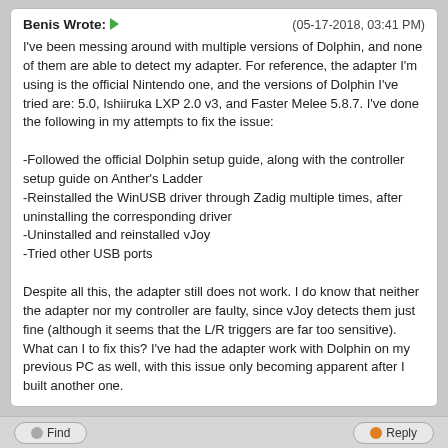Benis Wrote: → (05-17-2018, 03:41 PM)
I've been messing around with multiple versions of Dolphin, and none of them are able to detect my adapter. For reference, the adapter I'm using is the official Nintendo one, and the versions of Dolphin I've tried are: 5.0, Ishiiruka LXP 2.0 v3, and Faster Melee 5.8.7. I've done the following in my attempts to fix the issue:

-Followed the official Dolphin setup guide, along with the controller setup guide on Anther's Ladder
-Reinstalled the WinUSB driver through Zadig multiple times, after uninstalling the corresponding driver
-Uninstalled and reinstalled vJoy
-Tried other USB ports

Despite all this, the adapter still does not work. I do know that neither the adapter nor my controller are faulty, since vJoy detects them just fine (although it seems that the L/R triggers are far too sensitive). What can I to fix this? I've had the adapter work with Dolphin on my previous PC as well, with this issue only becoming apparent after I built another one.
At least try the latest development version of Dolphin which you can find on the top of the Download page. And make sure that the adapter is in the correct (Wii) mode.
Check my profile for up to date specs.